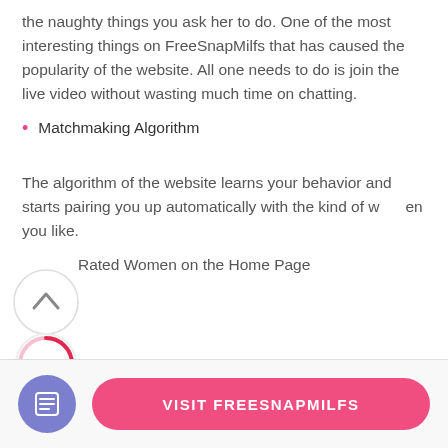the naughty things you ask her to do. One of the most interesting things on FreeSnapMilfs that has caused the popularity of the website. All one needs to do is join the live video without wasting much time on chatting.
Matchmaking Algorithm
The algorithm of the website learns your behavior and starts pairing you up automatically with the kind of women you like.
Rated Women on the Home Page
[Figure (other): Scroll-to-top arrow button circle overlay]
[Figure (donut-chart): 64% rating circle in pink/red outline]
VISIT FREESNAPMILFS